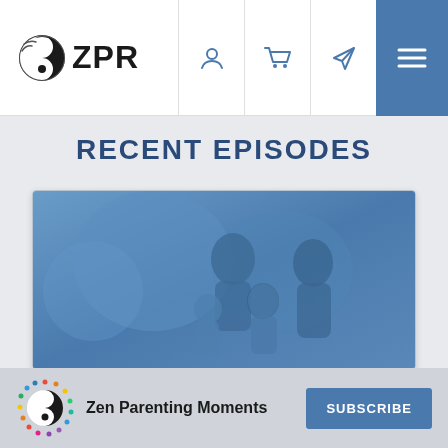ZPR
RECENT EPISODES
[Figure (photo): A family photo (parents and children) with a blue overlay tint, used as the episode card thumbnail image.]
Zen Parenting Moments
SUBSCRIBE